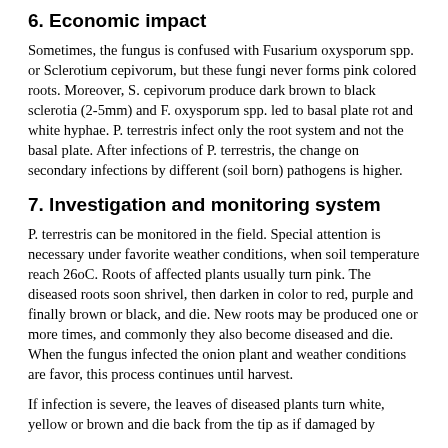6. Economic impact
Sometimes, the fungus is confused with Fusarium oxysporum spp. or Sclerotium cepivorum, but these fungi never forms pink colored roots. Moreover, S. cepivorum produce dark brown to black sclerotia (2-5mm) and F. oxysporum spp. led to basal plate rot and white hyphae. P. terrestris infect only the root system and not the basal plate. After infections of P. terrestris, the change on secondary infections by different (soil born) pathogens is higher.
7. Investigation and monitoring system
P. terrestris can be monitored in the field. Special attention is necessary under favorite weather conditions, when soil temperature reach 26oC. Roots of affected plants usually turn pink. The diseased roots soon shrivel, then darken in color to red, purple and finally brown or black, and die. New roots may be produced one or more times, and commonly they also become diseased and die. When the fungus infected the onion plant and weather conditions are favor, this process continues until harvest.
If infection is severe, the leaves of diseased plants turn white, yellow or brown and die back from the tip as if damaged by